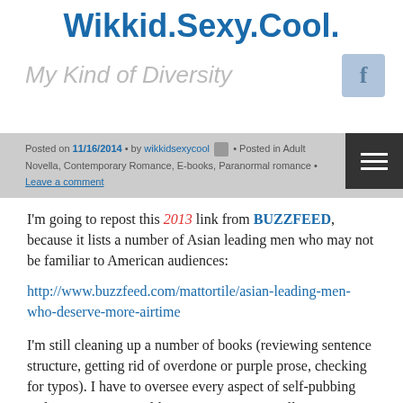Wikkid.Sexy.Cool.
My Kind of Diversity
Posted on 11/16/2014 • by wikkidsexycool • Posted in Adult Novella, Contemporary Romance, E-books, Paranormal romance • Leave a comment
I'm going to repost this 2013 link from BUZZFEED, because it lists a number of Asian leading men who may not be familiar to American audiences:
http://www.buzzfeed.com/mattortile/asian-leading-men-who-deserve-more-airtime
I'm still cleaning up a number of books (reviewing sentence structure, getting rid of overdone or purple prose, checking for typos). I have to oversee every aspect of self-pubbing and I re-write scenes like crazy. Sometimes I'll write a scene several times over, only to cut the whole dang thing and use just a couple of